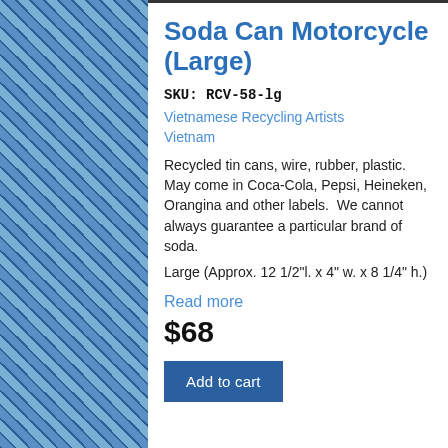[Figure (illustration): Blue decorative batik/diamond patterned background on left and right sides of the page]
Soda Can Motorcycle (Large)
SKU: RCV-58-lg
Vietnamese Recycling Artists
Vietnam
Recycled tin cans, wire, rubber, plastic. May come in Coca-Cola, Pepsi, Heineken, Orangina and other labels.  We cannot always guarantee a particular brand of soda.
Large (Approx. 12 1/2"l. x 4" w. x 8 1/4" h.)
Read more
$68
Add to cart